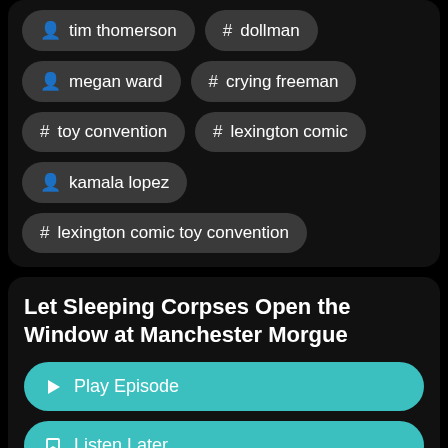tim thomerson
# dollman
megan ward
# crying freeman
# toy convention
# lexington comic
kamala lopez
# lexington comic toy convention
Let Sleeping Corpses Open the Window at Manchester Morgue
Play Episode
Listen Later
Sep 20, 2021
9:12